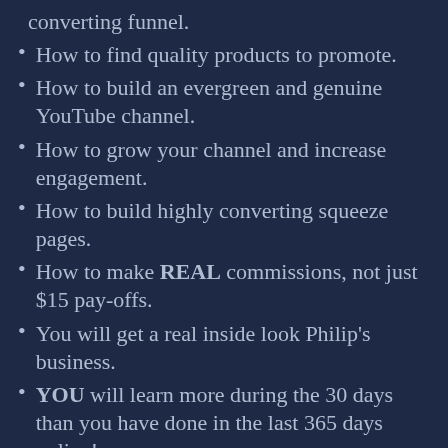converting funnel.
How to find quality products to promote.
How to build an evergreen and genuine YouTube channel.
How to grow your channel and increase engagement.
How to build highly converting squeeze pages.
How to make REAL commissions, not just $15 pay-offs.
You will get a real inside look Philip's business.
YOU will learn more during the 30 days than you have done in the last 365 days online!